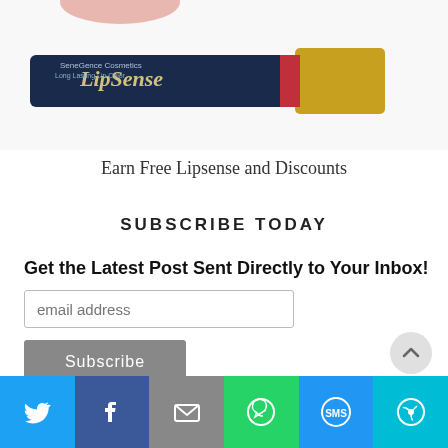[Figure (photo): A LipSense lipstick product (blue and gold tube) on a white background with a partial view of a hand]
Earn Free Lipsense and Discounts
SUBSCRIBE TODAY
Get the Latest Post Sent Directly to Your Inbox!
[Figure (screenshot): Email address input field with placeholder text 'email address' and a Subscribe button below it]
[Figure (infographic): Social sharing bar with Twitter, Facebook, Email, WhatsApp, SMS, and Share icons]